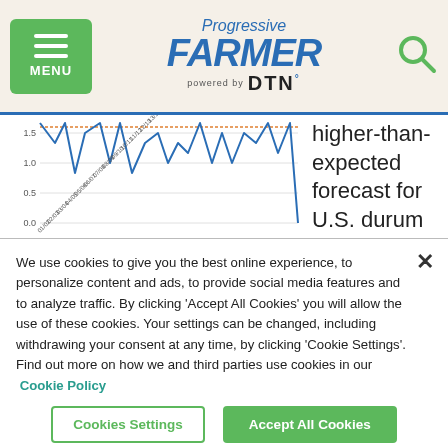Progressive FARMER powered by DTN
[Figure (continuous-plot): Line chart showing data over years from 2001/02 to 2021/22 with y-axis values ranging from 0.0 to 1.5+. Blue line with orange reference line visible at top.]
higher-than-expected forecast for U.S. durum production when compared to the Dow
We use cookies to give you the best online experience, to personalize content and ads, to provide social media features and to analyze traffic. By clicking 'Accept All Cookies' you will allow the use of these cookies. Your settings can be changed, including withdrawing your consent at any time, by clicking 'Cookie Settings'. Find out more on how we and third parties use cookies in our  Cookie Policy